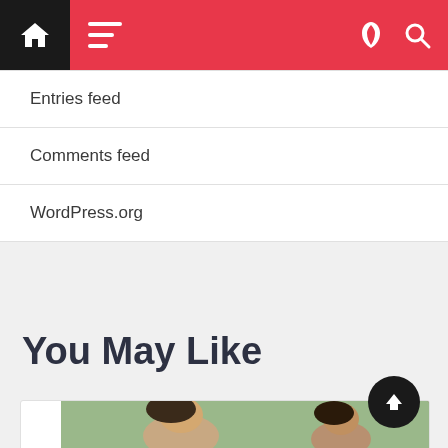Navigation bar with home, menu, moon, and search icons
Entries feed
Comments feed
WordPress.org
You May Like
[Figure (photo): Photo of two women, one in foreground with brown hair, another in background wearing glasses, outdoors with green background]